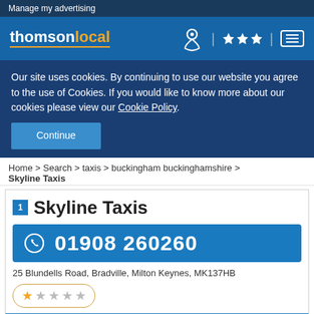Manage my advertising
[Figure (logo): thomsonlocal logo with navigation icons (person/location, stars, menu)]
Our site uses cookies. By continuing to use our website you agree to the use of Cookies. If you would like to know more about our cookies please view our Cookie Policy.
Continue
Home > Search > taxis > buckingham buckinghamshire > Skyline Taxis
Skyline Taxis
01908 260260
25 Blundells Road, Bradville, Milton Keynes, MK137HB
1 star rating (1 of 5 stars)
Get Directions